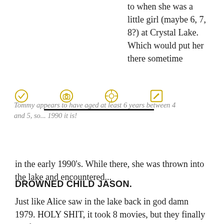to when she was a little girl (maybe 6, 7, 8?) at Crystal Lake. Which would put her there sometime
[Figure (other): Four circular icon buttons in a row: checkmark circle, camera circle, location/navigate circle, edit square. Below icons is a horizontal black underline bar.]
Tommy appears to have aged at least 6 years between 4 and 5, so... 1990 it is!
in the early 1990's. While there, she was thrown into the lake and encountered...
DROWNED CHILD JASON.
Just like Alice saw in the lake back in god damn 1979. HOLY SHIT, it took 8 movies, but they finally confirmed